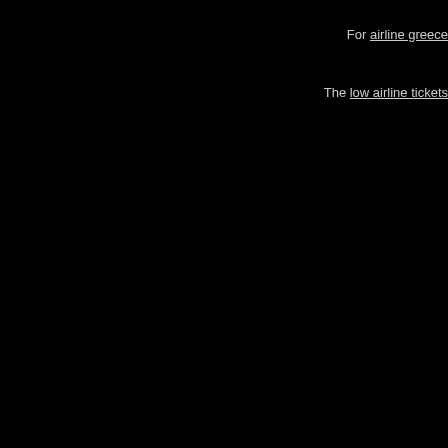For airline greece
The low airline tickets